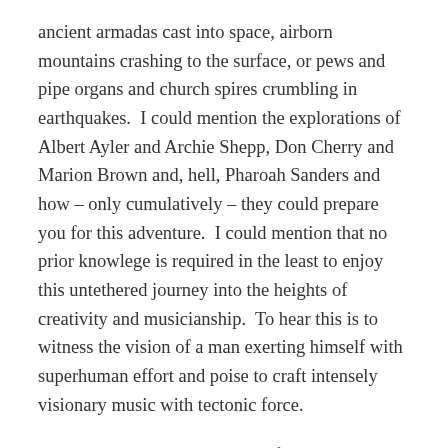ancient armadas cast into space, airborn mountains crashing to the surface, or pews and pipe organs and church spires crumbling in earthquakes.  I could mention the explorations of Albert Ayler and Archie Shepp, Don Cherry and Marion Brown and, hell, Pharoah Sanders and how – only cumulatively – they could prepare you for this adventure.  I could mention that no prior knowlege is required in the least to enjoy this untethered journey into the heights of creativity and musicianship.  To hear this is to witness the vision of a man exerting himself with superhuman effort and poise to craft intensely visionary music with tectonic force.
[please purchase either release from Constellation – the EP is on 10"/digital while Judges comes on vinyl with the CD and digital code included]